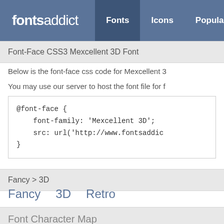fontsaddict — Fonts  Icons  Popular
Font-Face CSS3 Mexcellent 3D Font
Below is the font-face css code for Mexcellent 3
You may use our server to host the font file for f
@font-face {
    font-family: 'Mexcellent 3D';
    src: url('http://www.fontsaddic
}
Fancy > 3D
Fancy   3D   Retro
Font Character Map
…